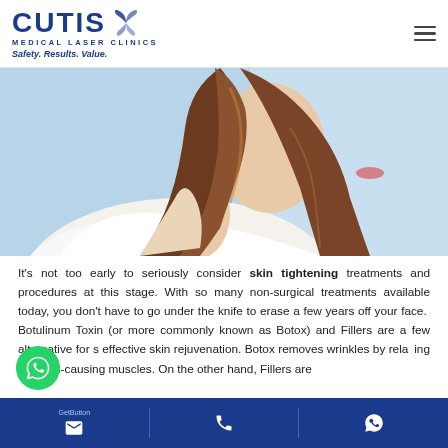[Figure (logo): Cutis Medical Laser Clinics logo with butterfly icon, tagline Safety. Results. Value.]
[Figure (photo): Woman with long brown wavy hair wearing white top, turned sideways showing neck and shoulder against light blue background]
It's not too early to seriously consider skin tightening treatments and procedures at this stage. With so many non-surgical treatments available today, you don't have to go under the knife to erase a few years off your face. Botulinum Toxin (or more commonly known as Botox) and Fillers are a few alternative for s effective skin rejuvenation. Botox removes wrinkles by relaxing wrinkles-causing muscles. On the other hand, Fillers are
[Figure (logo): WhatsApp floating chat button (green circle)]
GetButton | email icon | phone icon | WhatsApp icon